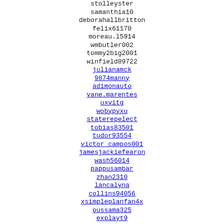stolleyster
samanthia10
deborahallbritton
felix61170
moreau.l5914
wmbutler002
tommy2big2001
winfield89722
julianamck
9874manny
adimonauto
vane.marentes
uxvitg
wobypyxu
staterepelect
tobias83501
tudor93554
victor_campos001
jamesjackiefearon
wash56014
pappusambar
zhan2310
lancalyna
collins94056
xsimpleplanfan4x
oussama325
explayt9
jacklondon_
teqamyru
thatcher45888